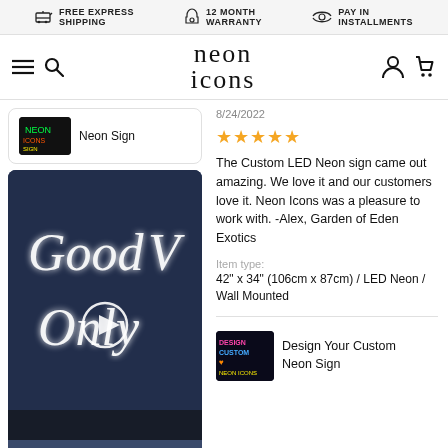FREE EXPRESS SHIPPING | 12 MONTH WARRANTY | PAY IN INSTALLMENTS
[Figure (logo): Neon Icons logo with hamburger menu and search icons on left, user and cart icons on right]
[Figure (photo): Neon sign reading 'Good Vibes Only' glowing in white on dark blue background, with a video play button overlay]
Neon Sign
8/24/2022
★★★★★
The Custom LED Neon sign came out amazing. We love it and our customers love it. Neon Icons was a pleasure to work with. -Alex, Garden of Eden Exotics
Item type:
42" x 34" (106cm x 87cm) / LED Neon / Wall Mounted
Design Your Custom Neon Sign